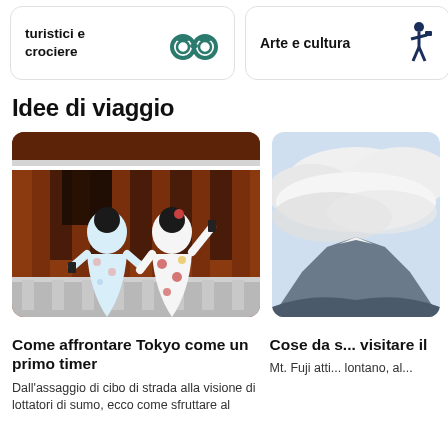[Figure (illustration): Card with text 'turistici e crociere' and binoculars icon]
[Figure (illustration): Card with text 'Arte e cultura' and tourist/person icon]
Idee di viaggio
[Figure (photo): Two women in colorful kimonos photographing in front of a red traditional Japanese building]
[Figure (photo): Partially visible photo showing cloudy sky and mountain (Mt. Fuji)]
Come affrontare Tokyo come un primo timer
Dall'assaggio di cibo di strada alla visione di lottatori di sumo, ecco come sfruttare al
Cose da s... visitare il
Mt. Fuji atti... lontano, al...